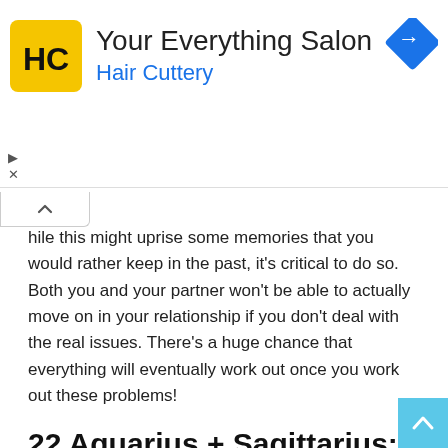[Figure (logo): Hair Cuttery advertisement banner with HC logo in yellow square, heading 'Your Everything Salon', subtitle 'Hair Cuttery' in blue, and a navigation/directions icon (blue diamond with right arrow) at top right]
hile this might uprise some memories that you would rather keep in the past, it's critical to do so. Both you and your partner won't be able to actually move on in your relationship if you don't deal with the real issues. There's a huge chance that everything will eventually work out once you work out these problems!
22 Aquarius + Sagittarius: Love Can Break Through Anything In Its Way
You and your partner have one of the strongest connections on our list. The love that the two of you have for one another